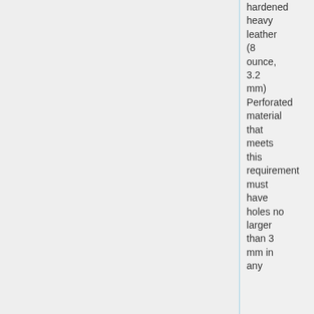hardened heavy leather (8 ounce, 3.2 mm) Perforated material that meets this requirement must have holes no larger than 3 mm in any